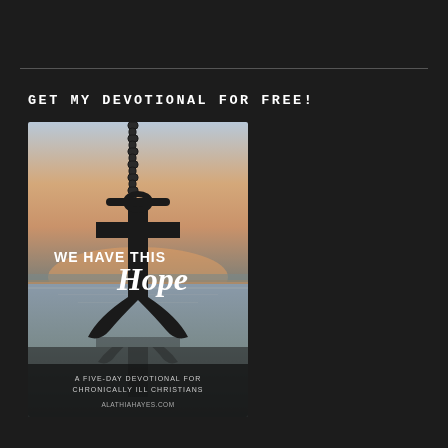GET MY DEVOTIONAL FOR FREE!
[Figure (illustration): Book cover for 'We Have This Hope - A Five-Day Devotional for Chronically Ill Christians' by alathiahayes.com. Shows an anchor/cross silhouette hanging from a chain against a sunset over water background.]